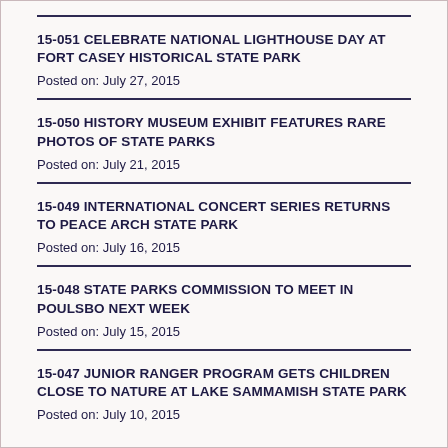15-051 CELEBRATE NATIONAL LIGHTHOUSE DAY AT FORT CASEY HISTORICAL STATE PARK
Posted on: July 27, 2015
15-050 HISTORY MUSEUM EXHIBIT FEATURES RARE PHOTOS OF STATE PARKS
Posted on: July 21, 2015
15-049 INTERNATIONAL CONCERT SERIES RETURNS TO PEACE ARCH STATE PARK
Posted on: July 16, 2015
15-048 STATE PARKS COMMISSION TO MEET IN POULSBO NEXT WEEK
Posted on: July 15, 2015
15-047 JUNIOR RANGER PROGRAM GETS CHILDREN CLOSE TO NATURE AT LAKE SAMMAMISH STATE PARK
Posted on: July 10, 2015